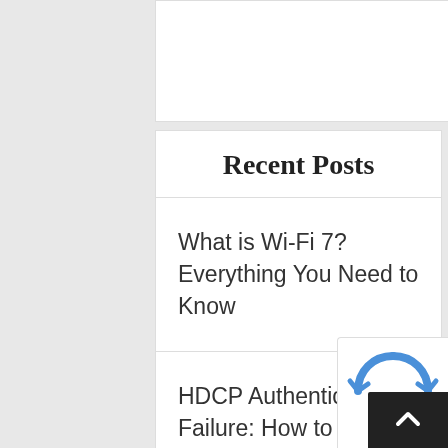Recent Posts
What is Wi-Fi 7? Everything You Need to Know
HDCP Authentication Failure: How to Fix HDCP Error?
What is com.google.android.gm? How to Delete It?
How to Fix Microsoft Compatibility Telemetry High Disk Usage
What Makes A Compelling Customer Relationship Management (CRM)